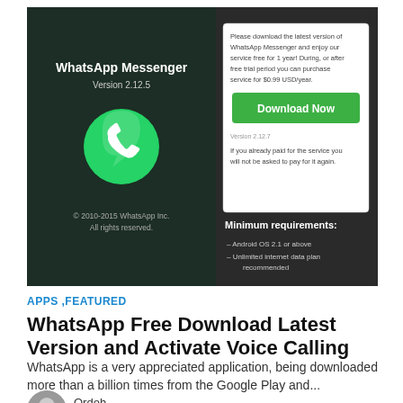[Figure (screenshot): WhatsApp Messenger app screenshot showing version 2.12.5 with green phone logo, copyright notice, and a download dialog with 'Download Now' button, version 2.12.7, payment info, and minimum requirements (Android OS 2.1 or above, Unlimited internet data plan recommended)]
APPS ,FEATURED
WhatsApp Free Download Latest Version and Activate Voice Calling
WhatsApp is a very appreciated application, being downloaded more than a billion times from the Google Play and...
Ordoh